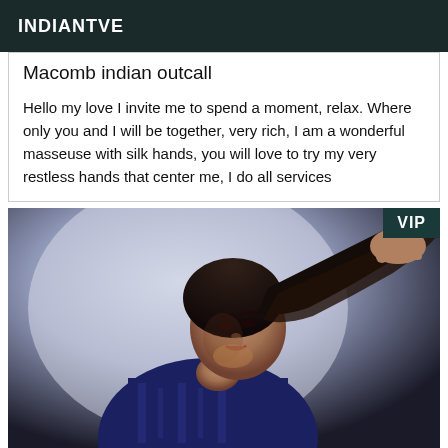INDIANTVE
Macomb indian outcall
Hello my love I invite me to spend a moment, relax. Where only you and I will be together, very rich, I am a wonderful masseuse with silk hands, you will love to try my very restless hands that center me, I do all services
[Figure (photo): Woman in dark blue lace bodysuit posing against a light background, with VIP badge in top right corner]